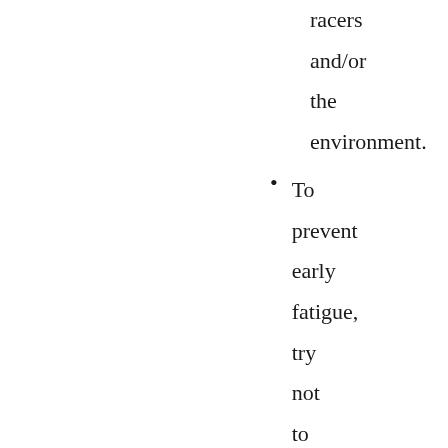racers and/or the environment.
To prevent early fatigue, try not to concentrate too much early on, save it for when you really need